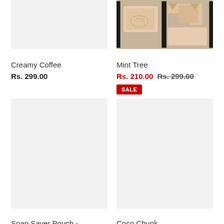[Figure (photo): Creamy Coffee product image - light gray placeholder]
Creamy Coffee
Rs. 299.00
[Figure (photo): Mint Tree soap product image - beige/cream colored soap pieces with black ribbon]
Mint Tree
Rs. 210.00  Rs. 299.00  SALE
[Figure (photo): Soap Saver Pouch - Handwoven product image - light gray placeholder]
Soap Saver Pouch - Handwoven
[Figure (photo): Coco Chunk product image - light gray placeholder]
Coco Chunk
Rs. 299.00